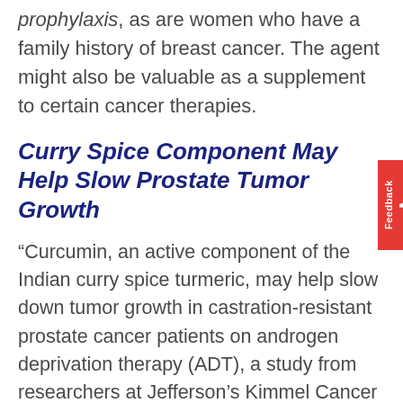prophylaxis, as are women who have a family history of breast cancer. The agent might also be valuable as a supplement to certain cancer therapies.
Curry Spice Component May Help Slow Prostate Tumor Growth
“Curcumin, an active component of the Indian curry spice turmeric, may help slow down tumor growth in castration-resistant prostate cancer patients on androgen deprivation therapy (ADT), a study from researchers at Jefferson’s Kimmel Cancer Center suggests.”